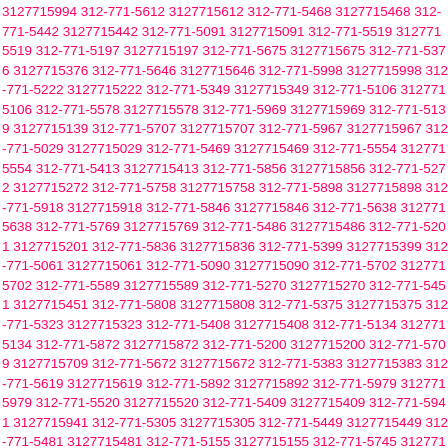3127715994 312-771-5612 3127715612 312-771-5468 3127715468 312-771-5442 3127715442 312-771-5091 3127715091 312-771-5519 3127715519 312-771-5197 3127715197 312-771-5675 3127715675 312-771-5376 3127715376 312-771-5646 3127715646 312-771-5998 3127715998 312-771-5222 3127715222 312-771-5349 3127715349 312-771-5106 3127715106 312-771-5578 3127715578 312-771-5969 3127715969 312-771-5139 3127715139 312-771-5707 3127715707 312-771-5967 3127715967 312-771-5029 3127715029 312-771-5469 3127715469 312-771-5554 3127715554 312-771-5413 3127715413 312-771-5856 3127715856 312-771-5272 3127715272 312-771-5758 3127715758 312-771-5898 3127715898 312-771-5918 3127715918 312-771-5846 3127715846 312-771-5638 3127715638 312-771-5769 3127715769 312-771-5486 3127715486 312-771-5201 3127715201 312-771-5836 3127715836 312-771-5399 3127715399 312-771-5061 3127715061 312-771-5090 3127715090 312-771-5702 3127715702 312-771-5589 3127715589 312-771-5270 3127715270 312-771-5451 3127715451 312-771-5808 3127715808 312-771-5375 3127715375 312-771-5323 3127715323 312-771-5408 3127715408 312-771-5134 3127715134 312-771-5872 3127715872 312-771-5200 3127715200 312-771-5709 3127715709 312-771-5672 3127715672 312-771-5383 3127715383 312-771-5619 3127715619 312-771-5892 3127715892 312-771-5979 3127715979 312-771-5520 3127715520 312-771-5409 3127715409 312-771-5941 3127715941 312-771-5305 3127715305 312-771-5449 3127715449 312-771-5481 3127715481 312-771-5155 3127715155 312-771-5745 3127715745 312-771-5586 3127715586